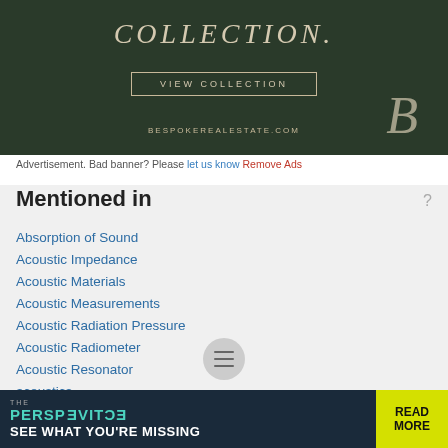[Figure (photo): Advertisement banner for Bespoke Real Estate showing 'COLLECTION.' text, VIEW COLLECTION button, BESPOKEREALESTATE.COM url, and stylized B logo over a dark architectural background]
Advertisement. Bad banner? Please let us know  Remove Ads
Mentioned in
Absorption of Sound
Acoustic Impedance
Acoustic Materials
Acoustic Measurements
Acoustic Radiation Pressure
Acoustic Radiometer
Acoustic Resonator
acoustics
[Figure (advertisement): Bottom banner ad: THE PERSPECTIVE - SEE WHAT YOU'RE MISSING with READ MORE button in yellow]